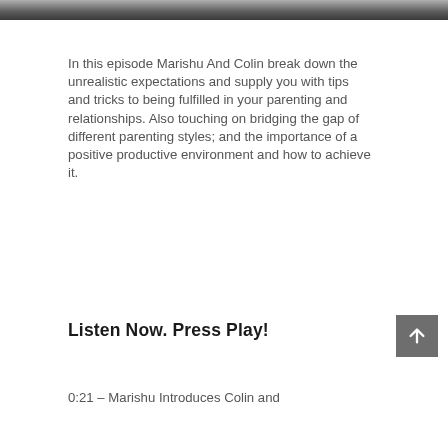[Figure (photo): Partial photo strip of people, cropped at top of page]
In this episode Marishu And Colin break down the unrealistic expectations and supply you with tips and tricks to being fulfilled in your parenting and relationships. Also touching on bridging the gap of different parenting styles; and the importance of a positive productive environment and how to achieve it.
Listen Now. Press Play!
0:21 – Marishu Introduces Colin and